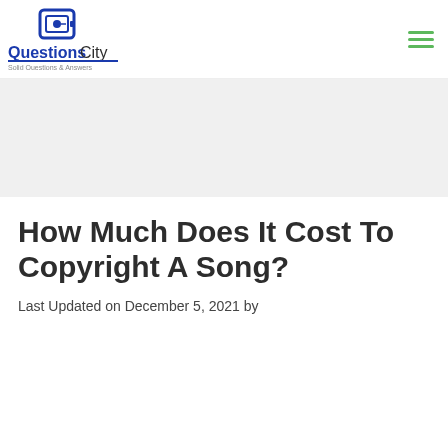QuestionsCity — Solid Questions & Answers
[Figure (logo): QuestionsCity logo with a safe/vault icon above the text 'QuestionsCity' in bold blue, and tagline 'Solid Questions & Answers' beneath]
How Much Does It Cost To Copyright A Song?
Last Updated on December 5, 2021 by